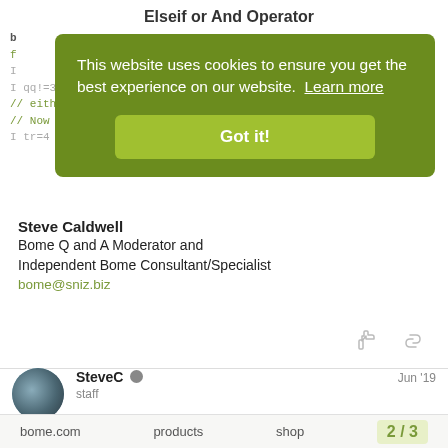Elseif or And Operator
b
f
I
I qq!=3 then skip next rule
// either pp==1 or qq=3
// Now the AND
I tr=4 then ss=5
[Figure (screenshot): Green cookie consent banner overlay reading: 'This website uses cookies to ensure you get the best experience on our website. Learn more' with a 'Got it!' button]
Steve Caldwell
Bome Q and A Moderator and
Independent Bome Consultant/Specialist
bome@sniz.biz
SteveC
staff
Jun '19
For your specific example. In this case, un
bome.com    products    shop    2 / 3